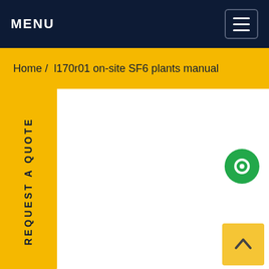MENU
Home / l170r01 on-site SF6 plants manual
REQUEST A QUOTE
[Figure (other): Green circular chat/message bubble icon]
[Figure (other): Back to top arrow button, gold/yellow background with upward chevron]